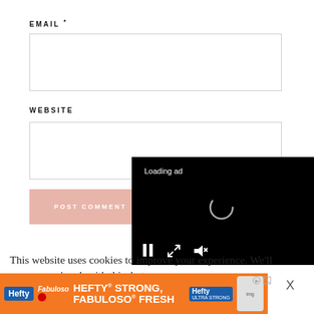EMAIL *
[Figure (screenshot): Empty email input text field with border]
WEBSITE
[Figure (screenshot): Empty website input text field with border]
[Figure (screenshot): POST COMMENT button in pink/salmon color]
[Figure (screenshot): Loading ad video overlay on black background with spinner and media controls (pause, expand, mute)]
This website uses cookies to improve your experience. We'll assume you're ok with this, but y
[Figure (infographic): Hefty STRONG, FABULOSO FRESH advertisement banner in orange with blue Hefty logo]
X